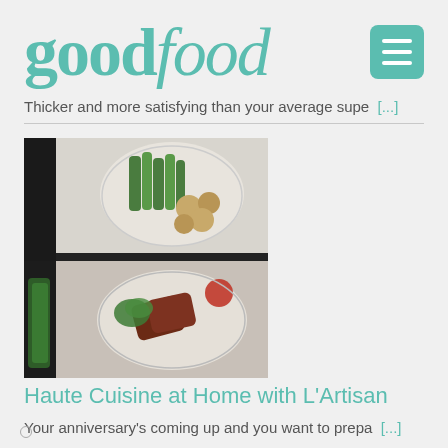goodfood
Thicker and more satisfying than your average supe [...]
[Figure (photo): Two food photos collaged: top shows a white plate with green asparagus and roasted potatoes, bottom shows sliced steak on a white plate with herbs and a red tomato.]
Haute Cuisine at Home with L'Artisan
Your anniversary's coming up and you want to prepa [...]